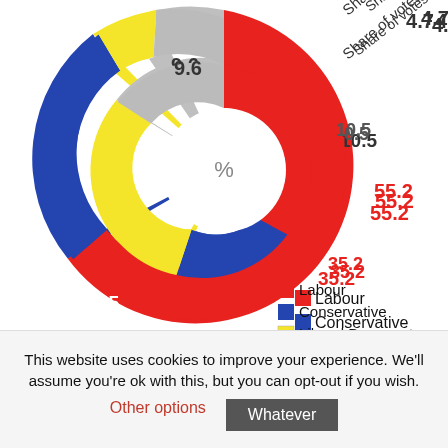[Figure (donut-chart): Share of seats / Share of votes]
This website uses cookies to improve your experience. We'll assume you're ok with this, but you can opt-out if you wish.
Other options
Whatever